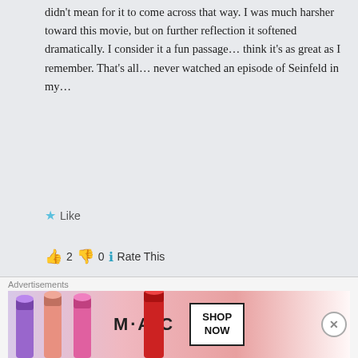didn't mean for it to come across that way. I was much harsher toward this movie, but on further reflection it softened dramatically. I consider it a fun pa... think it's as great as I remember. That's all... never watched an episode of Seinfeld in my...
Like
👍 2  👎 0  Rate This
Reply
Krystof Hanzlik says:
January 22, 2018 at 11:16 am
Hi, Robert. I believe that the objection... but that you didn't get it. Which I...
Advertisements